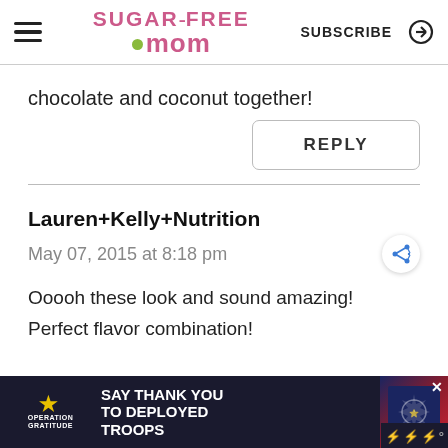Sugar-Free Mom — SUBSCRIBE
chocolate and coconut together!
REPLY
Lauren+Kelly+Nutrition
May 07, 2015 at 8:18 pm
Ooooh these look and sound amazing! Perfect flavor combination!
[Figure (infographic): Operation Gratitude ad banner: SAY THANK YOU TO DEPLOYED TROOPS]